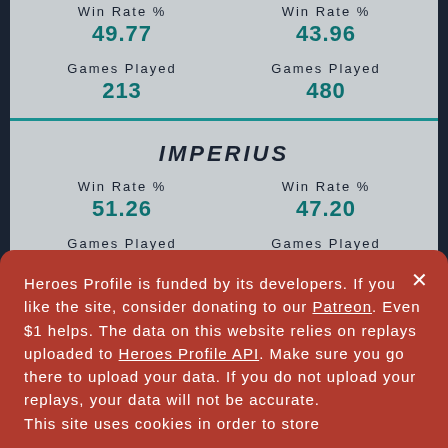|  | Win Rate % | Win Rate % |
| --- | --- | --- |
|  | 49.77 | 43.96 |
| Games Played | 213 | 480 |
IMPERIUS
| Win Rate % | Win Rate % |
| --- | --- |
| 51.26 | 47.20 |
| Games Played 119 | Games Played 483 |
JAINA
Heroes Profile is funded by its developers. If you like the site, consider donating to our Patreon. Even $1 helps. The data on this website relies on replays uploaded to Heroes Profile API. Make sure you go there to upload your data. If you do not upload your replays, your data will not be accurate. This site uses cookies in order to store